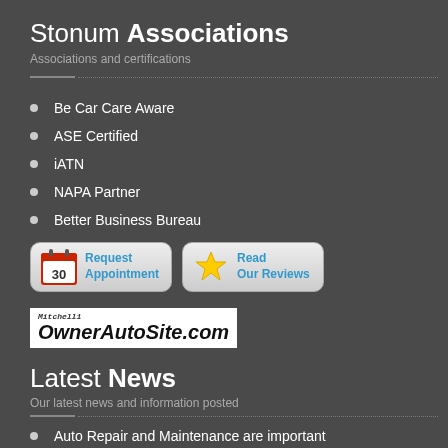Stonum Associations
Associations and certifications
Be Car Care Aware
ASE Certified
iATN
NAPA Partner
Better Business Bureau
[Figure (screenshot): Two buttons: 'Request Appointment' with calendar icon showing 30, and 'Read Our Reviews' with star icon]
[Figure (logo): Mitchell1 OwnerAutoSite.com logo]
Latest News
Our latest news and information posted
Auto Repair and Maintenance are important